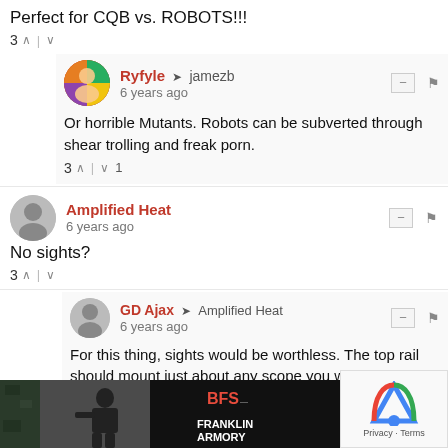Perfect for CQB vs. ROBOTS!!!
3 ^ | v
Ryfyle → jamezb
6 years ago
Or horrible Mutants. Robots can be subverted through shear trolling and freak porn.
3 ^ | v 1
Amplified Heat
6 years ago
No sights?
3 ^ | v
GD Ajax → Amplified Heat
6 years ago
For this thing, sights would be worthless. The top rail should mount just about any scope you want though.
5 ^ | v
[Figure (screenshot): Advertisement banner for Franklin Armory with soldier image and logo]